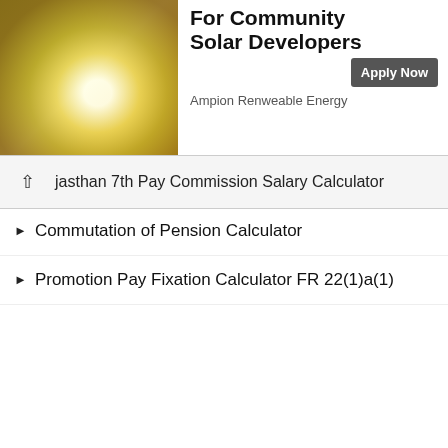[Figure (illustration): Advertisement banner with a photo of a person holding a glowing light bulb outdoors, alongside ad text for community solar developer jobs at Ampion Renewable Energy with an Apply Now button.]
jasthan 7th Pay Commission Salary Calculator
Commutation of Pension Calculator
Promotion Pay Fixation Calculator FR 22(1)a(1)